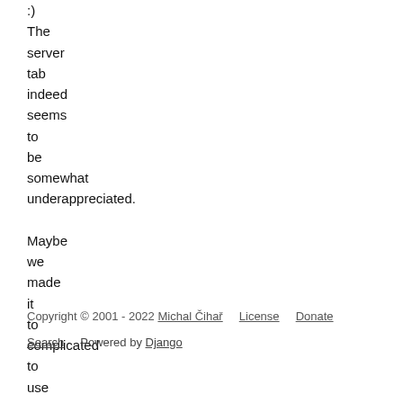:)
The server tab indeed seems to be somewhat underappreciated.

Maybe we made it to complicated to use :o
Copyright © 2001 - 2022 Michal Čihař    License    Donate

Search    Powered by Django